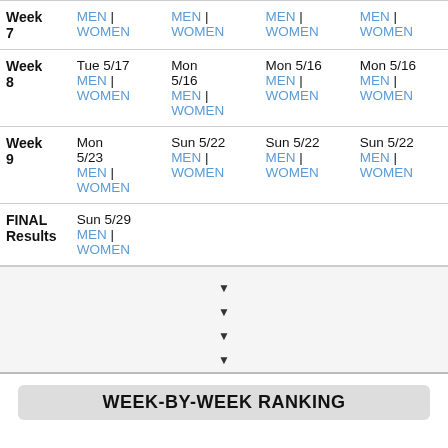| Week | Col1 | Col2 | Col3 | Col4 |
| --- | --- | --- | --- | --- |
| Week 7 | MEN | WOMEN | MEN | WOMEN | MEN | WOMEN | MEN | WOMEN |
| Week 8 | Tue 5/17 MEN | WOMEN | Mon 5/16 MEN | WOMEN | Mon 5/16 MEN | WOMEN | Mon 5/16 MEN | WOMEN |
| Week 9 | Mon 5/23 MEN | WOMEN | Sun 5/22 MEN | WOMEN | Sun 5/22 MEN | WOMEN | Sun 5/22 MEN | WOMEN |
| FINAL Results | Sun 5/29 MEN | WOMEN |  |  |  |
WEEK-BY-WEEK RANKING